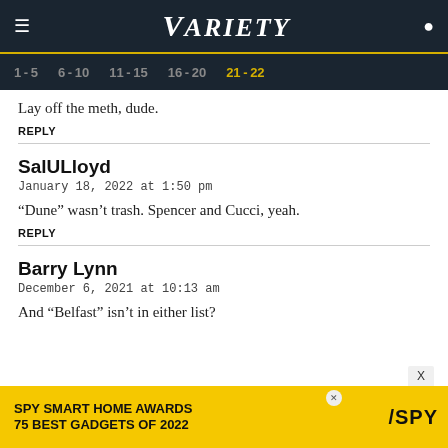VARIETY
1-5  6-10  11-15  16-20  21-22
Lay off the meth, dude.
REPLY
SalULloyd
January 18, 2022 at 1:50 pm
“Dune” wasn’t trash. Spencer and Cucci, yeah.
REPLY
Barry Lynn
December 6, 2021 at 10:13 am
And “Belfast” isn’t in either list?
[Figure (infographic): Advertisement banner: SPY SMART HOME AWARDS 75 BEST GADGETS OF 2022 with SPY logo]